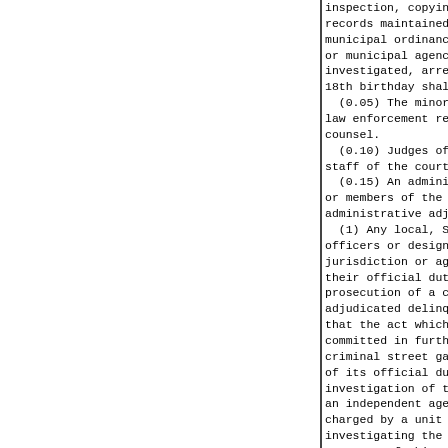inspection, copying, and disclos records maintained by law enfor municipal ordinance violations m or municipal agency that rela investigated, arrested, or taken 18th birthday shall be restricted (0.05) The minor who is t law enforcement record, his counsel. (0.10) Judges of the circ staff of the court designated (0.15) An administrative or members of the staff administrative adjudication p (1) Any local, State, or officers or designated la jurisdiction or agency when their official duties d prosecution of a crime or re adjudicated delinquent and th that the act which constitu committed in furtherance o criminal street gang, or, wh of its official duties in investigation of the conduct an independent agency or its charged by a unit of local investigating the conduct of purposes of this Section, " meaning ascribed to it in Streetgang Terrorism Omnibus